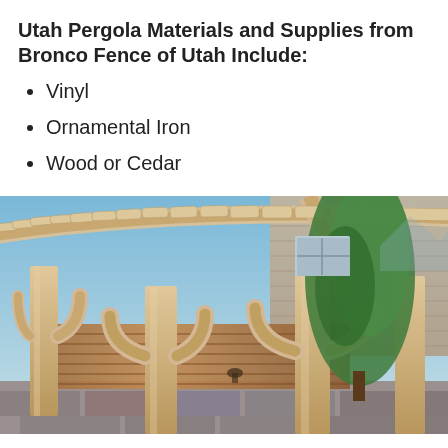Utah Pergola Materials and Supplies from Bronco Fence of Utah Include:
Vinyl
Ornamental Iron
Wood or Cedar
[Figure (photo): Photograph of a large wooden cedar pergola structure with arched beams and multiple cross-slat rafters, set against a blue sky. A tree and a house with tan siding are visible in the background.]